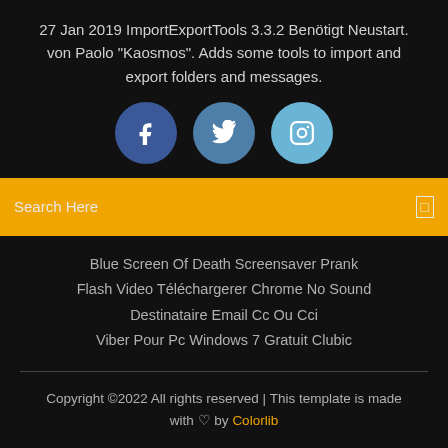27 Jan 2019 ImportExportTools 3.3.2 Benötigt Neustart. von Paolo "Kaosmos". Adds some tools to import and export folders and messages.
[Figure (illustration): Three social media icon circles: Facebook (dark blue), Twitter (medium blue), Instagram (light blue)]
Search Here
Blue Screen Of Death Screensaver Prank
Flash Video Téléchargerer Chrome No Sound
Destinataire Email Cc Ou Cci
Viber Pour Pc Windows 7 Gratuit Clubic
Copyright ©2022 All rights reserved | This template is made with ♡ by Colorlib